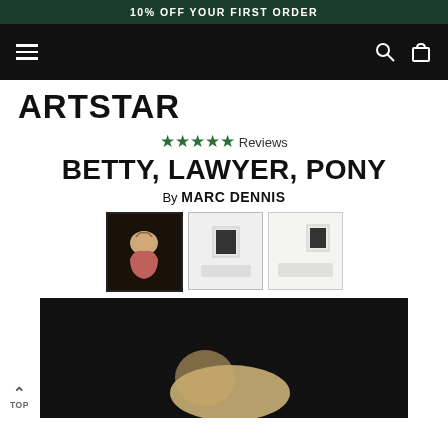10% OFF YOUR FIRST ORDER
[Figure (screenshot): Black navigation bar with hamburger menu on the left and search and cart icons on the right]
ARTSTAR
★★★★★ Reviews
BETTY, LAWYER, PONY
By MARC DENNIS
[Figure (photo): Three thumbnail images of artwork: first shows painting from behind of a person with floral clothing, second shows artwork in a white frame on a wall with sofa, third shows artwork in a room setting]
[Figure (photo): Main product image showing the artwork Betty, Lawyer, Pony by Marc Dennis - dark background with partial view of a blonde figure]